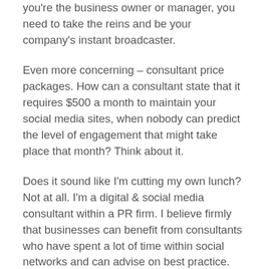you're the business owner or manager, you need to take the reins and be your company's instant broadcaster.
Even more concerning – consultant price packages. How can a consultant state that it requires $500 a month to maintain your social media sites, when nobody can predict the level of engagement that might take place that month? Think about it.
Does it sound like I'm cutting my own lunch? Not at all. I'm a digital & social media consultant within a PR firm. I believe firmly that businesses can benefit from consultants who have spent a lot of time within social networks and can advise on best practice. But in my firm, firstly, social media